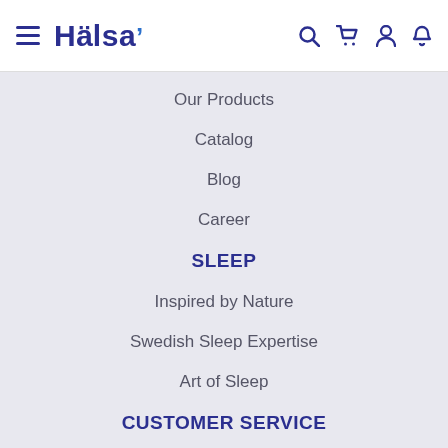Hälsa navigation header with hamburger menu, logo, search, cart, user, and bell icons
Our Products
Catalog
Blog
Career
SLEEP
Inspired by Nature
Swedish Sleep Expertise
Art of Sleep
CUSTOMER SERVICE
Terms and Conditions